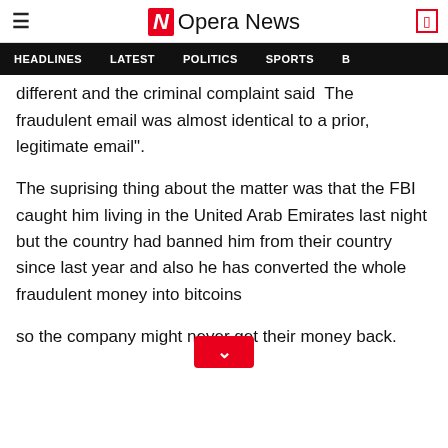Opera News
HEADLINES   LATEST   POLITICS   SPORTS
different and the criminal complaint said  The fraudulent email was almost identical to a prior, legitimate email".
The suprising thing about the matter was that the FBI caught him living in the United Arab Emirates last night but the country had banned him from their country since last year and also he has converted the whole fraudulent money into bitcoins
so the company might never get their money back.